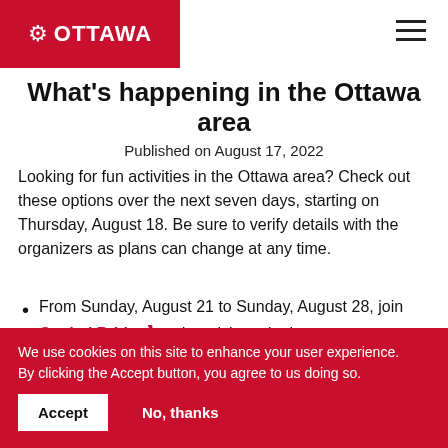Ottawa (logo)
What's happening in the Ottawa area
Published on August 17, 2022
Looking for fun activities in the Ottawa area? Check out these options over the next seven days, starting on Thursday, August 18. Be sure to verify details with the organizers as plans can change at any time.
From Sunday, August 21 to Sunday, August 28, join Capital Pride and participate in the many celebrations of Ottawa's 2SLGBTQ+ community in parks, streets, clubs and other sites across the city.
Head over to Lansdowne to cheer on the Ottawa
We use cookies on this site to enhance your user experience. By clicking the Accept button, you agree to us doing so.